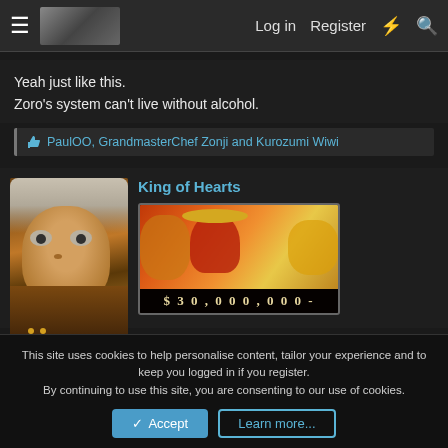≡  [logo]  Log in  Register  ⚡  🔍
Yeah just like this.
Zoro's system can't live without alcohol.
👍 PaulOO, GrandmasterChef Zonji and Kurozumi Wiwi
King of Hearts
[Figure (photo): Anime character avatar on left, bounty poster showing anime character with $ 30,000,000- text on right]
This site uses cookies to help personalise content, tailor your experience and to keep you logged in if you register. By continuing to use this site, you are consenting to our use of cookies. [Accept] [Learn more...]